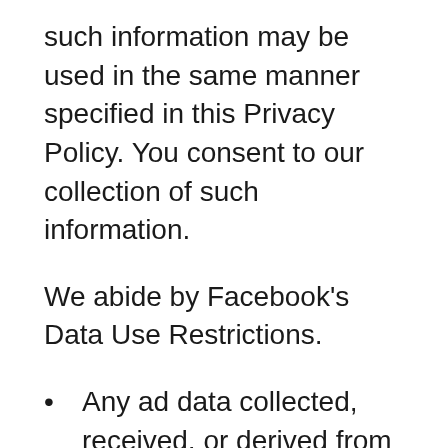such information may be used in the same manner specified in this Privacy Policy. You consent to our collection of such information.
We abide by Facebook's Data Use Restrictions.
Any ad data collected, received, or derived from our Facebook ad ("Facebook advertising data") is only shared with someone acting on our behalf, such as our service provider. We are responsible for ensuring that